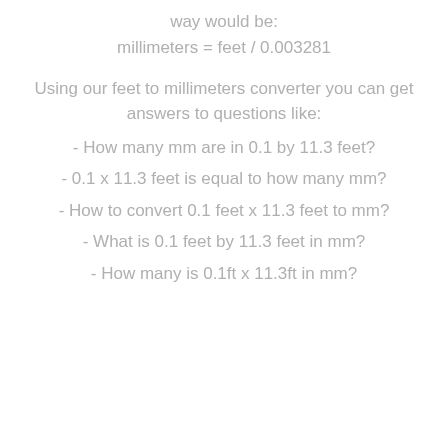way would be:
Using our feet to millimeters converter you can get answers to questions like:
- How many mm are in 0.1 by 11.3 feet?
- 0.1 x 11.3 feet is equal to how many mm?
- How to convert 0.1 feet x 11.3 feet to mm?
- What is 0.1 feet by 11.3 feet in mm?
- How many is 0.1ft x 11.3ft in mm?